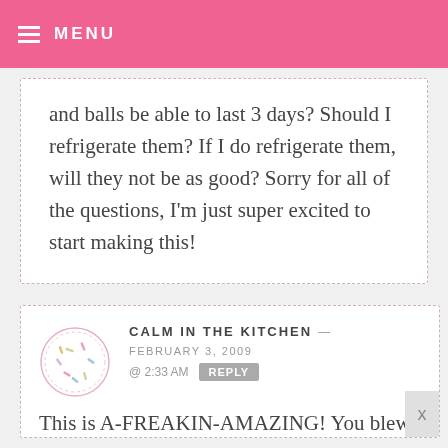MENU
and balls be able to last 3 days? Should I refrigerate them? If I do refrigerate them, will they not be as good? Sorry for all of the questions, I'm just super excited to start making this!
CALM IN THE KITCHEN — FEBRUARY 3, 2009 @ 2:33 AM REPLY
This is A-FREAKIN-AMAZING! You blew me away with the snowglobe, and